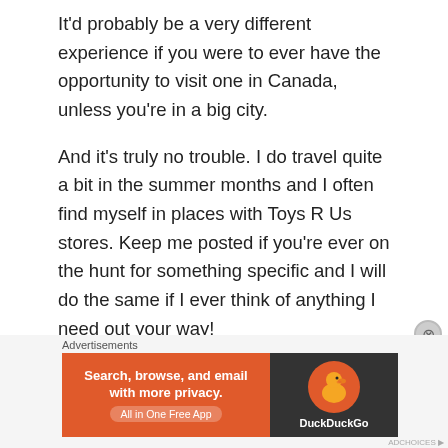It'd probably be a very different experience if you were to ever have the opportunity to visit one in Canada, unless you're in a big city.
And it's truly no trouble. I do travel quite a bit in the summer months and I often find myself in places with Toys R Us stores. Keep me posted if you're ever on the hunt for something specific and I will do the same if I ever think of anything I need out your way!
Advertisements
[Figure (other): DuckDuckGo advertisement banner: orange background on left with text 'Search, browse, and email with more privacy. All in One Free App' and dark right panel with DuckDuckGo duck logo and brand name.]